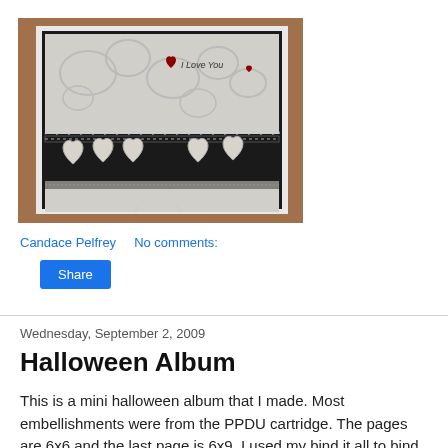[Figure (photo): A handmade greeting card with a black and white floral background, black band with lace edge, five white heart shapes decorated with ribbon and lace trim, and small red heart embellishments with 'I Love You' text. The card sits on a wooden surface.]
Candace Pelfrey    No comments:
Share
Wednesday, September 2, 2009
Halloween Album
This is a mini halloween album that I made. Most embellishments were from the PPDU cartridge. The pages are 6x6 and the last page is 6x9. I used my bind it all to bind